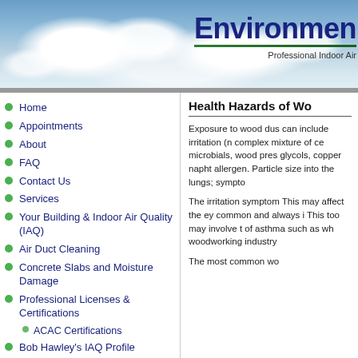Environmen... Professional Indoor Air...
Home
Appointments
About
FAQ
Contact Us
Services
Your Building & Indoor Air Quality (IAQ)
Air Duct Cleaning
Concrete Slabs and Moisture Damage
Professional Licenses & Certifications
ACAC Certifications
Bob Hawley's IAQ Profile
Don't Be Fooled
Certificate vs. A Professional Certification: What You "MUST" Know
Health Hazards of Wo...
Exposure to wood dus... can include irritation (n... complex mixture of ce... microbials, wood pres... glycols, copper napht... allergen. Particle size ... into the lungs; sympto...
The irritation symptom... This may affect the ey... common and always i... This too may involve t... of asthma such as wh... woodworking industry...
The most common wo...